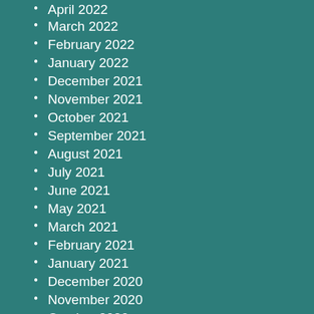April 2022
March 2022
February 2022
January 2022
December 2021
November 2021
October 2021
September 2021
August 2021
July 2021
June 2021
May 2021
March 2021
February 2021
January 2021
December 2020
November 2020
October 2020
September 2020